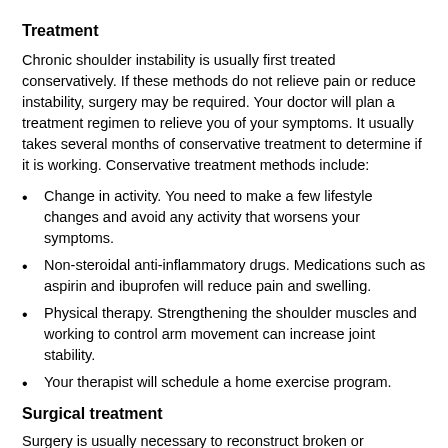Treatment
Chronic shoulder instability is usually first treated conservatively. If these methods do not relieve pain or reduce instability, surgery may be required. Your doctor will plan a treatment regimen to relieve you of your symptoms. It usually takes several months of conservative treatment to determine if it is working. Conservative treatment methods include:
Change in activity. You need to make a few lifestyle changes and avoid any activity that worsens your symptoms.
Non-steroidal anti-inflammatory drugs. Medications such as aspirin and ibuprofen will reduce pain and swelling.
Physical therapy. Strengthening the shoulder muscles and working to control arm movement can increase joint stability.
Your therapist will schedule a home exercise program.
Surgical treatment
Surgery is usually necessary to reconstruct broken or stretched